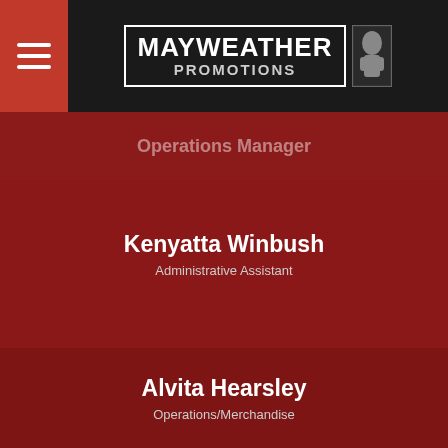[Figure (logo): Mayweather Promotions logo with hamburger menu icon on dark header bar]
Operations Manager
Kenyatta Winbush
Administrative Assistant
Nicole Hampton
Administrative / Operations Support Staff
Alvita Hearsley
Operations/Merchandise